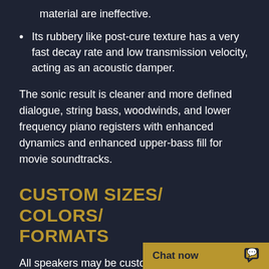material are ineffective.
Its rubbery like post-cure texture has a very fast decay rate and low transmission velocity, acting as an acoustic damper.
The sonic result is cleaner and more defined dialogue, string bass, woodwinds, and lower frequency piano registers with enhanced dynamics and enhanced upper-bass fill for movie soundtracks.
CUSTOM SIZES/ COLORS/ FORMATS
All speakers may be custom sized to fit existing or unique locations.